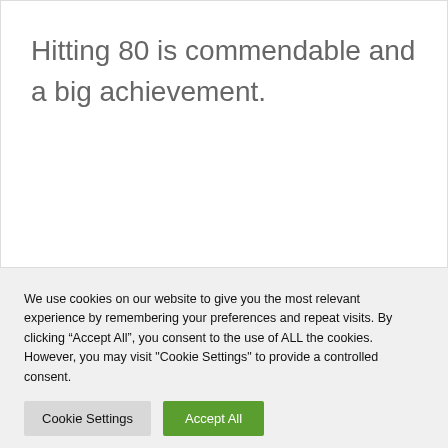Hitting 80 is commendable and a big achievement.
We use cookies on our website to give you the most relevant experience by remembering your preferences and repeat visits. By clicking “Accept All”, you consent to the use of ALL the cookies. However, you may visit "Cookie Settings" to provide a controlled consent.